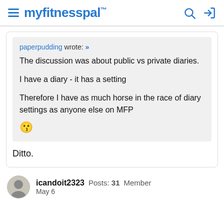myfitnesspal
paperpudding wrote: » The discussion was about public vs private diaries.

I have a diary - it has a setting

Therefore I have as much horse in the race of diary settings as anyone else on MFP 😗
Ditto.
icandoit2323 Posts: 31 Member May 6